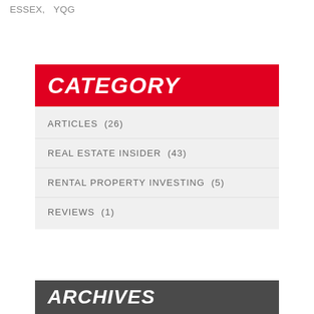ESSEX,  YQG
CATEGORY
ARTICLES  (26)
REAL ESTATE INSIDER  (43)
RENTAL PROPERTY INVESTING  (5)
REVIEWS  (1)
ARCHIVES